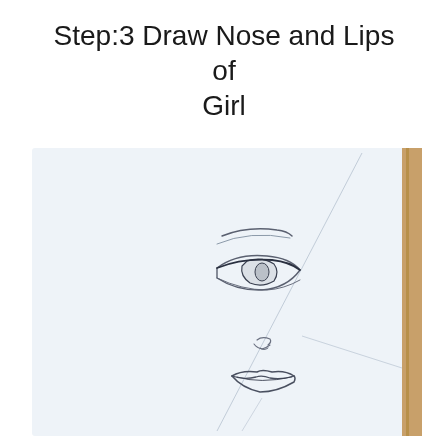Step:3 Draw Nose and Lips of Girl
[Figure (illustration): A pencil sketch on light blue-white paper showing a partial side-profile face of a girl. The drawing includes one eye with eyebrow, a nose, and lips, with light construction/guide lines crossing the face diagonally. The paper appears slightly tilted with a wooden surface visible on the right edge.]